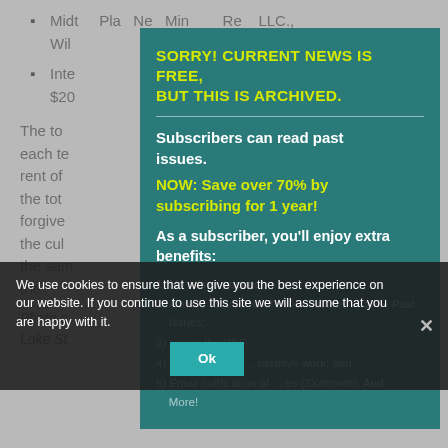Midtown Plaza New Minneapolis Realty LLC., Will...
Inte... er, $20...
The to... ls each te... onthly rent of... ed by the tot... forgive... ugh the cul... t meet the sam... is for the...
Photo o... the Lake St...
[Figure (screenshot): Modal dialog overlay on a news article page with teal background. Header in yellow bold: 'SORRY! CURRENT NEWS IS FREE, BUT THIS IS ARCHIVED.' followed by white text 'Subscribers can read past issues.' then yellow bold 'NOW: Save over 70% by subscribing for 1 year!' then white bold 'As a subscriber, you'll enjoy extra benefits:' followed by list items: 1) No ads or popups; 2) Access to Archive of 9500+ articles in 175+ Past Issues; 3) ... use the PDF; 4) Satisfaction of ... nerative work; and 5) Email notification of ... es (2X/month). And More!]
We use cookies to ensure that we give you the best experience on our website. If you continue to use this site we will assume that you are happy with it.
Ok